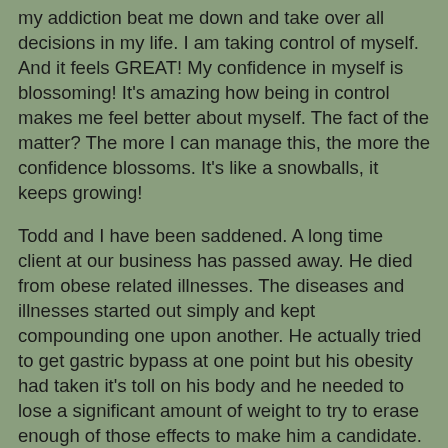my addiction beat me down and take over all decisions in my life. I am taking control of myself.  And it feels GREAT!   My confidence in myself is blossoming!  It's amazing how being in control makes me feel better about myself.   The fact of the matter? The more I can manage this, the more the confidence blossoms.  It's like a  snowballs, it keeps growing!
Todd and I have been saddened.   A long time client at our business has passed away.  He died from obese related illnesses.  The diseases and illnesses started out simply and kept compounding one upon another.  He actually tried to get gastric bypass at one point but his obesity had taken it's toll on his body and he needed to lose a significant amount of weight to try to erase enough of those effects to make him a candidate.  About two years ago, our client was told by his doctors that he HAD to lose weight.  His weight was killing him.  There was nothing they could do to prolong his life.  It was HIS responsibility...no one else could save him.  His close friends held an intervention.  But sadly, he had given up and nothing could change his mind.  He passed late last week  from obesity driven diseases and illnesses that ravished his body. He was close to my age, in his early 40's.